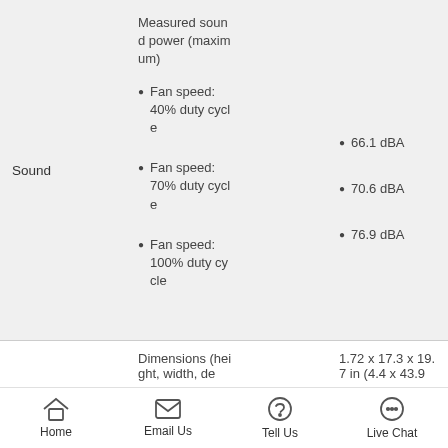|  | Specification | Value |
| --- | --- | --- |
| Sound | Measured sound power (maximum)
• Fan speed: 40% duty cycle
• Fan speed: 70% duty cycle
• Fan speed: 100% duty cycle | • 66.1 dBA
• 70.6 dBA
• 76.9 dBA |
Dimensions (height, width, de...
1.72 x 17.3 x 19.7 in (4.4 x 43.9...
Home  Email Us  Tell Us  Live Chat